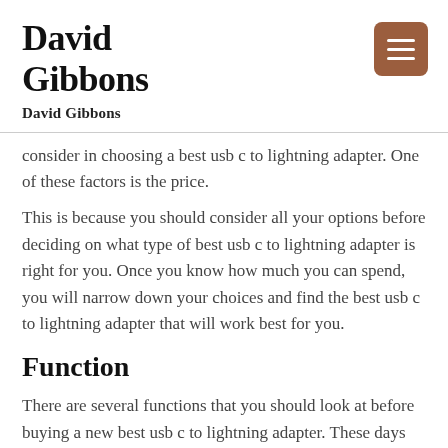David Gibbons
David Gibbons
consider in choosing a best usb c to lightning adapter. One of these factors is the price.
This is because you should consider all your options before deciding on what type of best usb c to lightning adapter is right for you. Once you know how much you can spend, you will narrow down your choices and find the best usb c to lightning adapter that will work best for you.
Function
There are several functions that you should look at before buying a new best usb c to lightning adapter. These days the more advanced best usb c to lightning adapter have some amazing